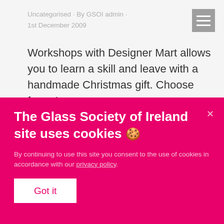Uncategorised · By GSOI admin · 1st December 2009
Workshops with Designer Mart allows you to learn a skill and leave with a handmade Christmas gift. Choose from 4
The Glass Society of Ireland site uses cookies 🍪
By continuing to use this site you consent to the use of cookies in accordance with our privacy policy.
Got it